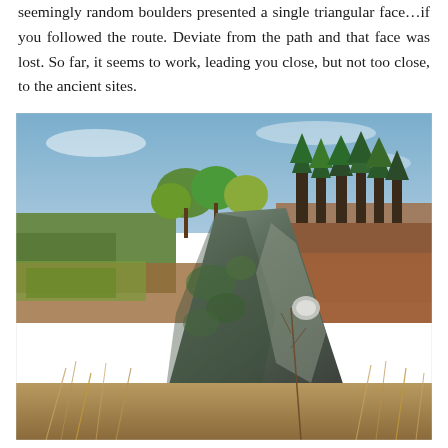seemingly random boulders presented a single triangular face…if you followed the route. Deviate from the path and that face was lost. So far, it seems to work, leading you close, but not too close, to the ancient sites.
[Figure (photo): A large triangular moss-covered boulder or standing stone in the foreground, surrounded by dry golden grass and bracken. Behind it is a woodland of mixed trees (green conifers and deciduous trees with some autumn colour) and open moorland with reddish-brown vegetation under a blue sky.]